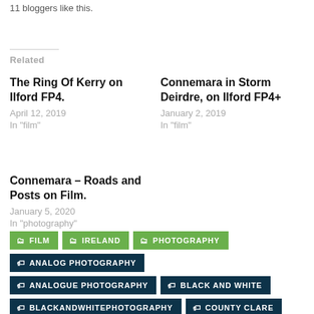11 bloggers like this.
Related
The Ring Of Kerry on Ilford FP4.
April 12, 2019
In "film"
Connemara in Storm Deirdre, on Ilford FP4+
January 2, 2019
In "film"
Connemara – Roads and Posts on Film.
January 5, 2020
In "photography"
FILM
IRELAND
PHOTOGRAPHY
ANALOG PHOTOGRAPHY
ANALOGUE PHOTOGRAPHY
BLACK AND WHITE
BLACKANDWHITEPHOTOGRAPHY
COUNTY CLARE